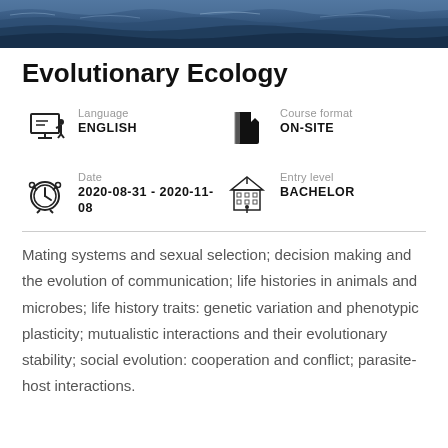[Figure (photo): Ocean water surface banner image with blue waves]
Evolutionary Ecology
Language
ENGLISH
Course format
ON-SITE
Date
2020-08-31 - 2020-11-08
Entry level
BACHELOR
Mating systems and sexual selection; decision making and the evolution of communication; life histories in animals and microbes; life history traits: genetic variation and phenotypic plasticity; mutualistic interactions and their evolutionary stability; social evolution: cooperation and conflict; parasite-host interactions.